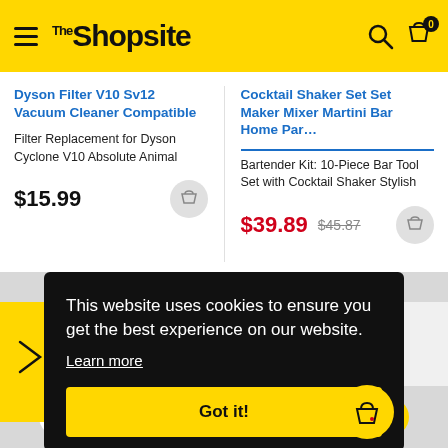The Shopsite
Dyson Filter V10 Sv12 Vacuum Cleaner Compatible
Filter Replacement for Dyson Cyclone V10 Absolute Animal
$15.99
Cocktail Shaker Set Set Maker Mixer Martini Bar Home Par…
Bartender Kit: 10-Piece Bar Tool Set with Cocktail Shaker Stylish
$39.89 $45.87
This website uses cookies to ensure you get the best experience on our website.
Learn more
Got it!